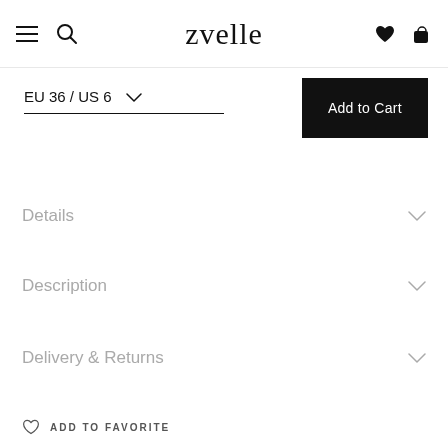zvelle
EU 36 / US 6
Add to Cart
Details
Description
Delivery & Returns
ADD TO FAVORITE